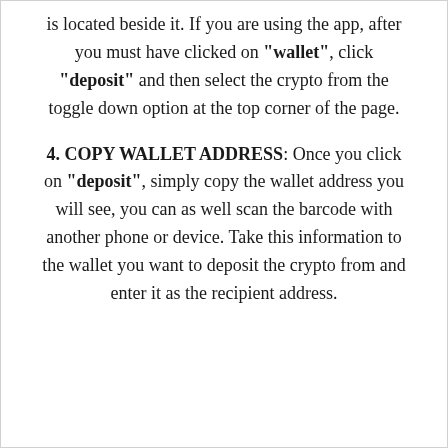is located beside it. If you are using the app, after you must have clicked on "wallet", click "deposit" and then select the crypto from the toggle down option at the top corner of the page.
4. COPY WALLET ADDRESS: Once you click on "deposit", simply copy the wallet address you will see, you can as well scan the barcode with another phone or device. Take this information to the wallet you want to deposit the crypto from and enter it as the recipient address.